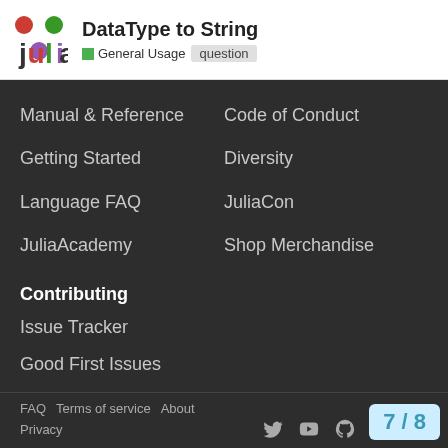DataType to String — General Usage | question
Manual & Reference
Code of Conduct
Getting Started
Diversity
Language FAQ
JuliaCon
JuliaAcademy
Shop Merchandise
Contributing
Issue Tracker
Good First Issues
Report a Security Issue
Sponsor on GitHub
FAQ   Terms of service   About   Privacy   7 / 8